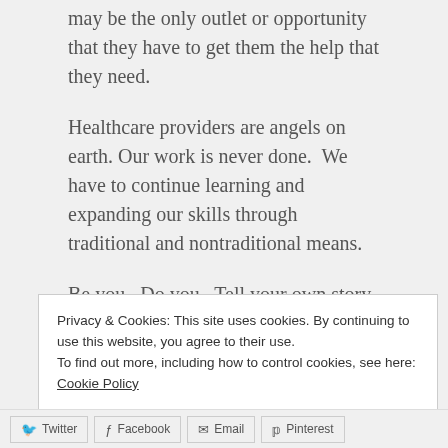may be the only outlet or opportunity that they have to get them the help that they need.
Healthcare providers are angels on earth. Our work is never done.  We have to continue learning and expanding our skills through traditional and nontraditional means.
Be you.  Do you.  Tell your own story.  On your own terms.
Privacy & Cookies: This site uses cookies. By continuing to use this website, you agree to their use.
To find out more, including how to control cookies, see here: Cookie Policy
Close and accept
Twitter  Facebook  Email  Pinterest